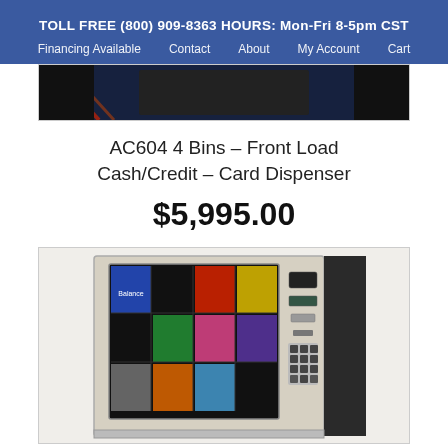TOLL FREE (800) 909-8363 HOURS: Mon-Fri 8-5pm CST
Financing Available | Contact | About | My Account | Cart
[Figure (photo): Partial product image visible at top, dark background with diagonal accent lines]
AC604 4 Bins – Front Load Cash/Credit – Card Dispenser
$5,995.00
[Figure (photo): Vending machine product photo: AC604 front-load card dispenser, silver/beige body with 4x3 grid product bins visible through glass window, dark right side panel, keypad and card reader on right side of front panel]